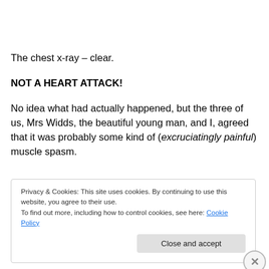The chest x-ray – clear.
NOT A HEART ATTACK!
No idea what had actually happened, but the three of us, Mrs Widds, the beautiful young man, and I, agreed that it was probably some kind of (excruciatingly painful) muscle spasm.
Privacy & Cookies: This site uses cookies. By continuing to use this website, you agree to their use.
To find out more, including how to control cookies, see here: Cookie Policy
Close and accept